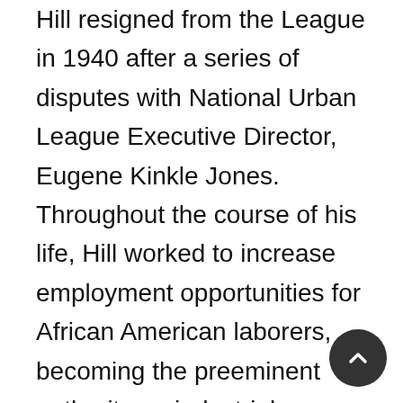Hill resigned from the League in 1940 after a series of disputes with National Urban League Executive Director, Eugene Kinkle Jones. Throughout the course of his life, Hill worked to increase employment opportunities for African American laborers, becoming the preeminent authority on industrial relations. He also supported vocational training for African Americans and published his ideas regarding the creation of the Vocational Opportunity Campaign (VOC) in the March 1930 issue of the League's Opportunity magazine. Created to inspire African American men to seek out industrial training and help place them in the appropriate employment, the VOC operated successfully for twenty years.